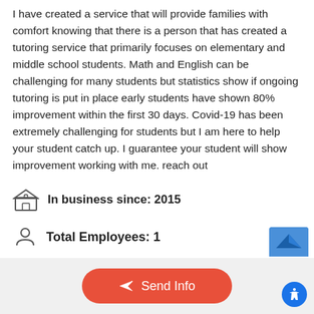I have created a service that will provide families with comfort knowing that there is a person that has created a tutoring service that primarily focuses on elementary and middle school students. Math and English can be challenging for many students but statistics show if ongoing tutoring is put in place early students have shown 80% improvement within the first 30 days. Covid-19 has been extremely challenging for students but I am here to help your student catch up. I guarantee your student will show improvement working with me. reach out
In business since: 2015
Total Employees: 1
Send Info